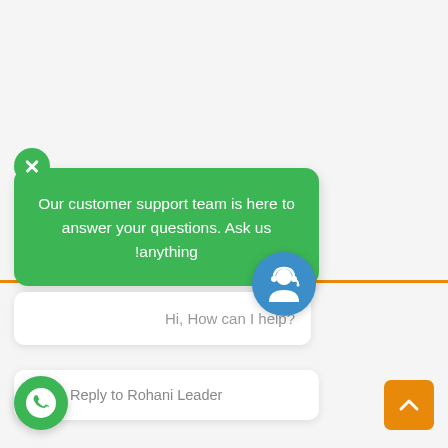[Figure (screenshot): Customer support chat widget UI showing a green chat bubble with support message, agent avatar, greeting message box, reply box, WhatsApp button, and scroll-to-top button]
Our customer support team is here to answer your questions. Ask us !anything
?Hi, How can I help
Reply to Rohani Leader